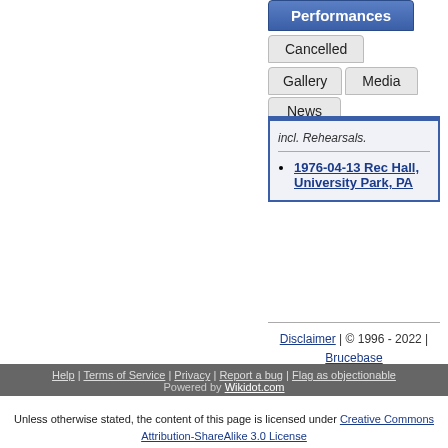[Figure (screenshot): Navigation tabs: Performances (active, blue), Cancelled, Gallery, Media, News]
incl. Rehearsals.
1976-04-13 Rec Hall, University Park, PA
Disclaimer | © 1996 - 2022 | Brucebase
[Figure (infographic): Social media icons: Facebook, Twitter, YouTube]
29 1973 april brucespringsteen ca
Help | Terms of Service | Privacy | Report a bug | Flag as objectionable
Powered by Wikidot.com
Unless otherwise stated, the content of this page is licensed under Creative Commons Attribution-ShareAlike 3.0 License